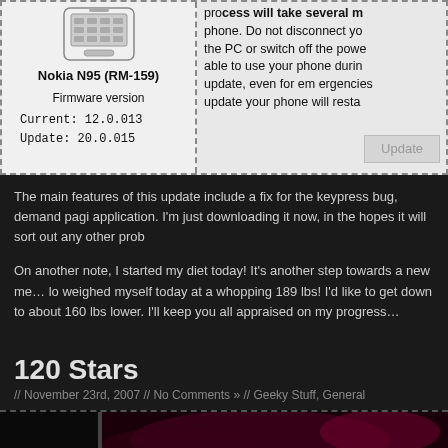[Figure (screenshot): Nokia N95 (RM-159) firmware update dialog showing phone image, firmware version Current: 12.0.013, Update: 20.0.015, with warning text about not disconnecting and an Update button]
The main features of this update include a fix for the keypress bug, demand paging application. I'm just downloading it now, in the hopes it will sort out any other prob
On another note, I started my diet today! It's another step towards a new me… lo weighed myself today at a whopping 189 lbs! I'd like to get down to about 160 lbs lower. I'll keep you all appraised on my progress…
120 Stars
// November 23rd, 2007 // No Comments » // Geeky Stuff, General
[Figure (photo): Bottom strip showing a dark concert/performance photo with red/pink lighting]